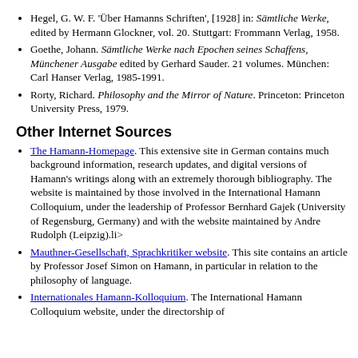Hegel, G. W. F. 'Über Hamanns Schriften', [1928] in: Sämtliche Werke, edited by Hermann Glockner, vol. 20. Stuttgart: Frommann Verlag, 1958.
Goethe, Johann. Sämtliche Werke nach Epochen seines Schaffens, Münchener Ausgabe edited by Gerhard Sauder. 21 volumes. München: Carl Hanser Verlag, 1985-1991.
Rorty, Richard. Philosophy and the Mirror of Nature. Princeton: Princeton University Press, 1979.
Other Internet Sources
The Hamann-Homepage. This extensive site in German contains much background information, research updates, and digital versions of Hamann's writings along with an extremely thorough bibliography. The website is maintained by those involved in the International Hamann Colloquium, under the leadership of Professor Bernhard Gajek (University of Regensburg, Germany) and with the website maintained by Andre Rudolph (Leipzig).li>
Mauthner-Gesellschaft, Sprachkritiker website. This site contains an article by Professor Josef Simon on Hamann, in particular in relation to the philosophy of language.
Internationales Hamann-Kolloquium. The International Hamann Colloquium website, under the directorship of